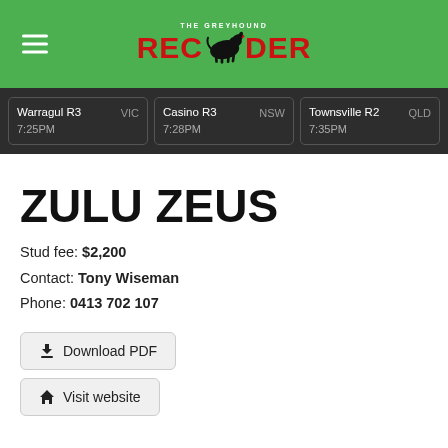THE GREYHOUND RECORDER
Warragul R3  VIC  7:25PM
Casino R3  NSW  7:28PM
Townsville R2  QLD  7:35PM
ZULU ZEUS
Stud fee: $2,200
Contact: Tony Wiseman
Phone: 0413 702 107
Download PDF
Visit website